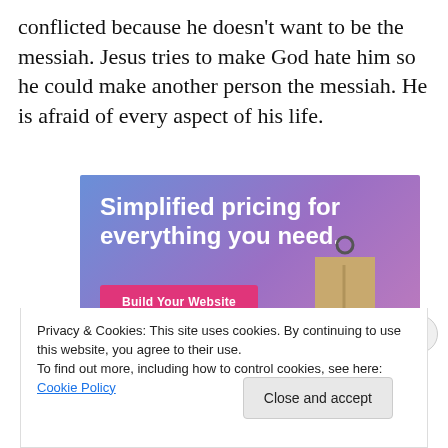conflicted because he doesn't want to be the messiah. Jesus tries to make God hate him so he could make another person the messiah. He is afraid of every aspect of his life.
[Figure (screenshot): Advertisement banner with gradient blue-purple background. Text reads 'Simplified pricing for everything you need.' with a pink 'Build Your Website' button and a price tag illustration on the right.]
Privacy & Cookies: This site uses cookies. By continuing to use this website, you agree to their use.
To find out more, including how to control cookies, see here: Cookie Policy